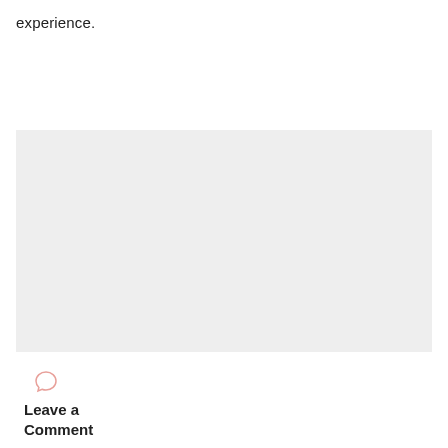experience.
[Figure (other): A light gray rectangular placeholder image area]
[Figure (other): A speech bubble / comment icon in light salmon/pink color]
Leave a Comment